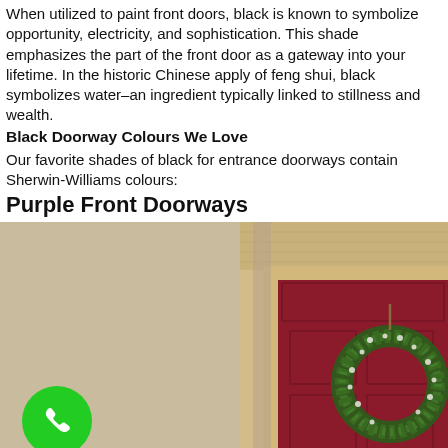When utilized to paint front doors, black is known to symbolize opportunity, electricity, and sophistication. This shade emphasizes the part of the front door as a gateway into your lifetime. In the historic Chinese apply of feng shui, black symbolizes water–an ingredient typically linked to stillness and wealth.
Black Doorway Colours We Love
Our favorite shades of black for entrance doorways contain Sherwin-Williams colours:
Purple Front Doorways
[Figure (photo): Photo of a house exterior showing a dark red/maroon front door with a green wreath hanging on it, tan stucco wall on the left, cream-colored trim around the door. A green phone call button icon is overlaid in the bottom-left corner.]